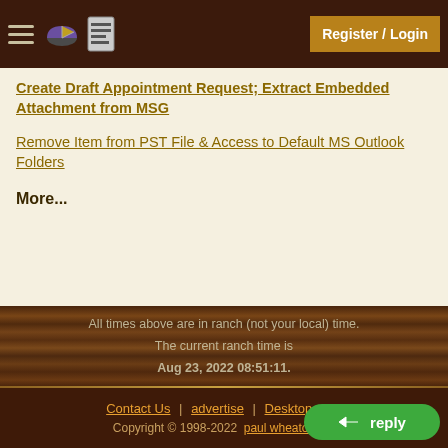Register / Login
Create Draft Appointment Request; Extract Embedded Attachment from MSG
Remove Item from PST File & Access to Default MS Outlook Folders
More...
All times above are in ranch (not your local) time.
The current ranch time is
Aug 23, 2022 08:51:11.
Contact Us | advertise | Desktop view
Copyright © 1998-2022  paul wheaton , m...